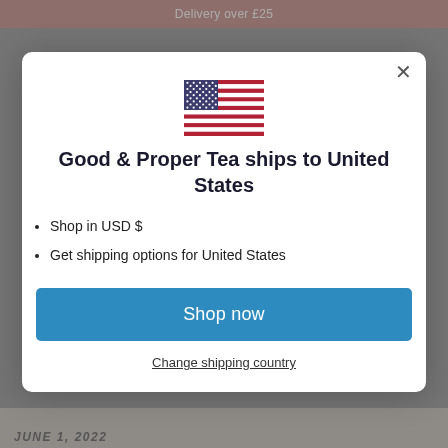Delivery over £25
[Figure (illustration): US flag emoji/illustration used as modal header graphic]
Good & Proper Tea ships to United States
Shop in USD $
Get shipping options for United States
Shop now
Change shipping country
JUNE 1, 2022